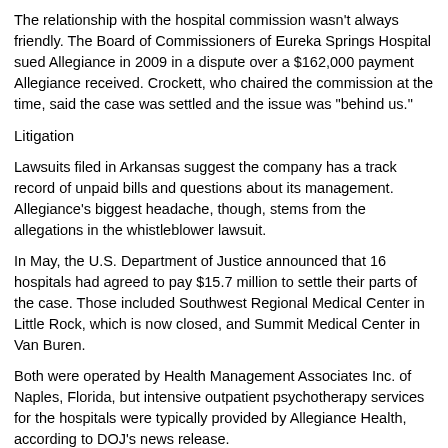The relationship with the hospital commission wasn't always friendly. The Board of Commissioners of Eureka Springs Hospital sued Allegiance in 2009 in a dispute over a $162,000 payment Allegiance received. Crockett, who chaired the commission at the time, said the case was settled and the issue was "behind us."
Litigation
Lawsuits filed in Arkansas suggest the company has a track record of unpaid bills and questions about its management. Allegiance's biggest headache, though, stems from the allegations in the whistleblower lawsuit.
In May, the U.S. Department of Justice announced that 16 hospitals had agreed to pay $15.7 million to settle their parts of the case. Those included Southwest Regional Medical Center in Little Rock, which is now closed, and Summit Medical Center in Van Buren.
Both were operated by Health Management Associates Inc. of Naples, Florida, but intensive outpatient psychotherapy services for the hospitals were typically provided by Allegiance Health, according to DOJ's news release.
All of the documents in the case have been filed under seal, which is the practice with federal whistleblower cases. Attorney Cliff Johnson of Jackson, Mississippi, who represents the whistleblower, Ryan Ladner, a former employee at an Allegiance facility in Mississippi, offered some insight.
"We certainly believe, based on the information available to us, that [Allegiance] was part of a far-reaching scheme to get money from